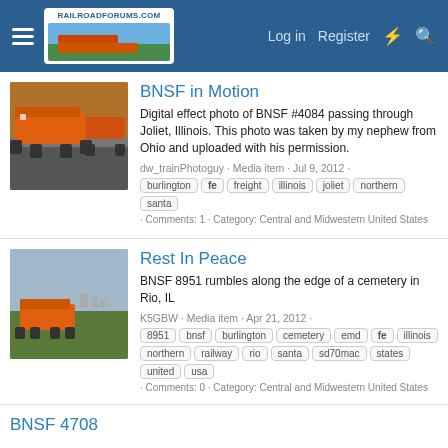RailroadForums.com · Log in · Register
BNSF in Motion
Digital effect photo of BNSF #4084 passing through Joliet, Illinois. This photo was taken by my nephew from Ohio and uploaded with his permission.
dw_trainPhotoguy · Media item · Jul 9, 2012
burlington · fe · freight · illinois · joliet · northern · santa · Comments: 1 · Category: Central and Midwestern United States
Rest In Peace
BNSF 8951 rumbles along the edge of a cemetery in Rio, IL
K5GBW · Media item · Apr 21, 2012
8951 · bnsf · burlington · cemetery · emd · fe · illinois · northern · railway · rio · santa · sd70mac · states · united · usa · Comments: 0 · Category: Central and Midwestern United States
BNSF 4708